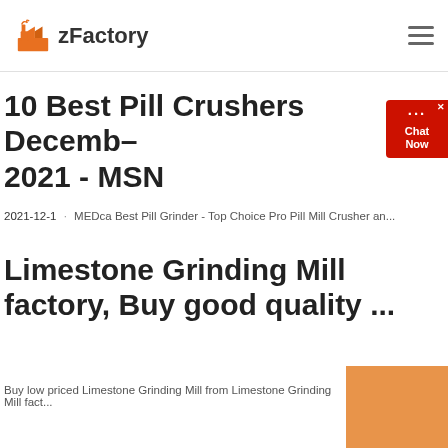zFactory
10 Best Pill Crushers December 2021 - MSN
2021-12-1 · MEDca Best Pill Grinder - Top Choice Pro Pill Mill Crusher an...
Limestone Grinding Mill factory, Buy good quality ...
Buy low priced Limestone Grinding Mill from Limestone Grinding Mill fact...